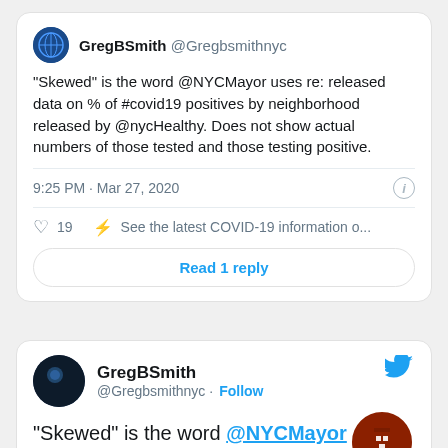[Figure (screenshot): Tweet card from @GregBSmithnyc with text about 'Skewed' word used by @NYCMayor re: released data on % of #covid19 positives by neighborhood released by @nycHealthy. Does not show actual numbers of those tested and those testing positive. Timestamp: 9:25 PM · Mar 27, 2020. 19 likes. Read 1 reply button.]
[Figure (screenshot): Second tweet card from GregBSmith @Gregbsmithnyc with Follow button. Text begins: 'Skewed' is the word @NYCMayor us... re: released data on % of #covid19. Twitter bird icon top right, building icon overlay bottom right.]